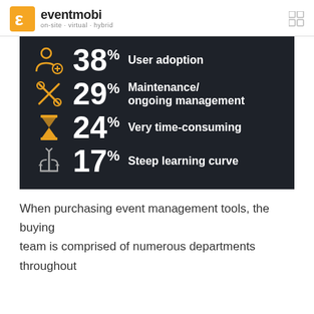eventmobi on-site · virtual · hybrid
[Figure (infographic): Dark panel infographic showing 4 statistics: 38% User adoption, 29% Maintenance/ongoing management, 24% Very time-consuming, 17% Steep learning curve, each with an orange icon]
When purchasing event management tools, the buying team is comprised of numerous departments throughout